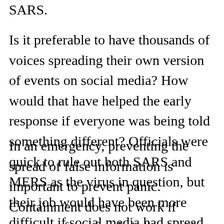SARS.
Is it preferable to have thousands of voices spreading their own version of events on social media? How would that have helped the early response if everyone was being told something different? Officials were quick to rule out both SARS and MERS as the virus in question, but their job would have been more difficult if social media had spread that it was SARS already.
In an emergency, preventing the spread of false information is important to prevent panic. Containment does not work if everyone fears for their lives and are pushed to desperate measures, including breaking quarantine. Xu may think the Chinese system handicapped the response, but I do not think a country